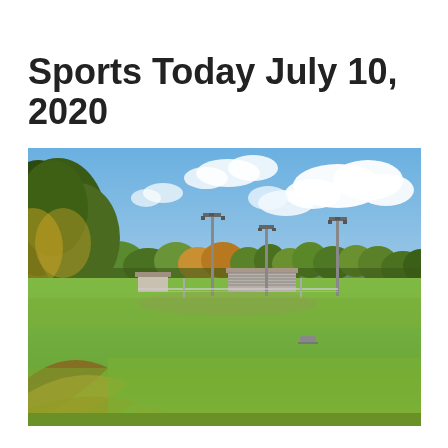Sports Today July 10, 2020
[Figure (photo): Outdoor sports field (soccer/football field) on a sunny autumn day. Green grass field with some fallen leaves in the foreground, stadium bleachers visible in the background center, sports field lights on poles, and autumn-colored trees lining the back of the field under a blue sky with white clouds.]